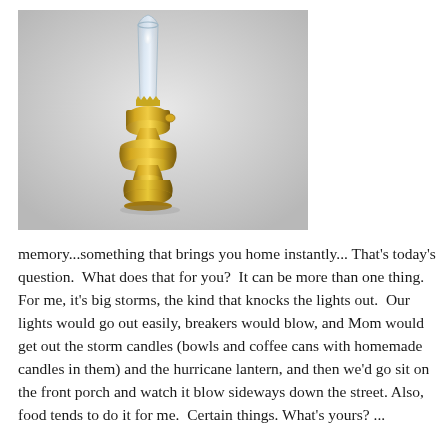[Figure (photo): A brass/gold hurricane oil lantern with a clear glass chimney, sitting against a light gray background.]
memory...something that brings you home instantly...That's today's question.  What does that for you?  It can be more than one thing.  For me, it's big storms, the kind that knocks the lights out.  Our lights would go out easily, breakers would blow, and Mom would get out the storm candles (bowls and coffee cans with homemade candles in them) and the hurricane lantern, and then we'd go sit on the front porch and watch it blow sideways down the street. Also, food tends to do it for me.  Certain things. What's yours? ...